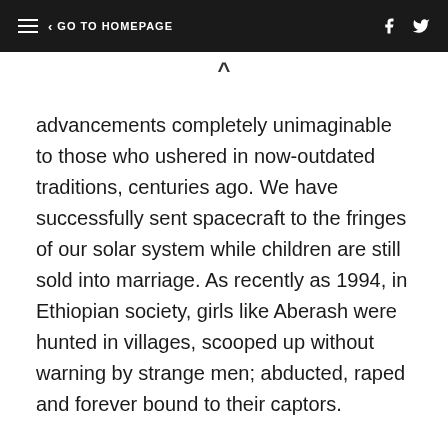≡  < GO TO HOMEPAGE  [Facebook] [Twitter]
advancements completely unimaginable to those who ushered in now-outdated traditions, centuries ago. We have successfully sent spacecraft to the fringes of our solar system while children are still sold into marriage. As recently as 1994, in Ethiopian society, girls like Aberash were hunted in villages, scooped up without warning by strange men; abducted, raped and forever bound to their captors.
This was the deep-rooted Ethiopian tradition of telefa, now illegal thanks to the two real-life